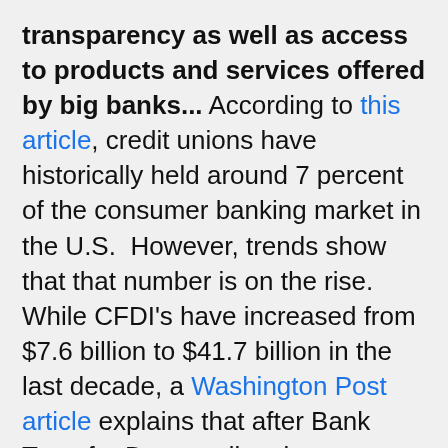transparency as well as access to products and services offered by big banks... According to this article, credit unions have historically held around 7 percent of the consumer banking market in the U.S.  However, trends show that that number is on the rise. While CFDI's have increased from $7.6 billion to $41.7 billion in the last decade, a Washington Post article explains that after Bank Transfer Day, credit unions reported an increase in share growth of 54 percent. Credit unions now boast 93 million members. In researching some community bank options, I came across New Resource Bank and One Pacific Coast Bank. New